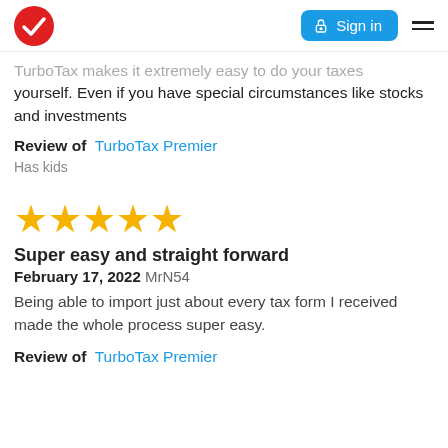Sign in
TurboTax makes it extremely easy to do your taxes yourself. Even if you have special circumstances like stocks and investments
Review of  TurboTax Premier
Has kids
[Figure (other): Five gold stars rating]
Super easy and straight forward
February 17, 2022 MrN54
Being able to import just about every tax form I received made the whole process super easy.
Review of  TurboTax Premier